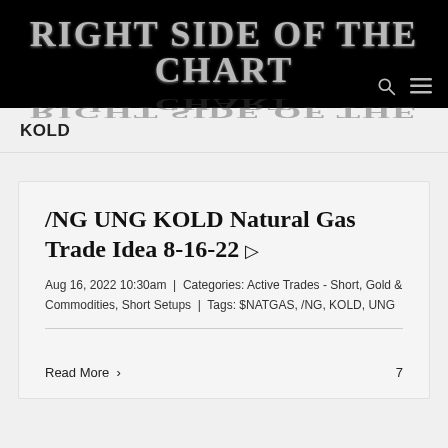RIGHT SIDE OF THE CHART
KOLD
/NG UNG KOLD Natural Gas Trade Idea 8-16-22
Aug 16, 2022 10:30am | Categories: Active Trades - Short, Gold & Commodities, Short Setups | Tags: $NATGAS, /NG, KOLD, UNG
Read More 7